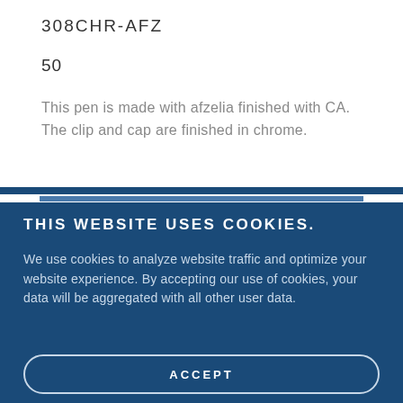308CHR-AFZ
50
This pen is made with afzelia finished with CA. The clip and cap are finished in chrome.
THIS WEBSITE USES COOKIES.
We use cookies to analyze website traffic and optimize your website experience. By accepting our use of cookies, your data will be aggregated with all other user data.
ACCEPT